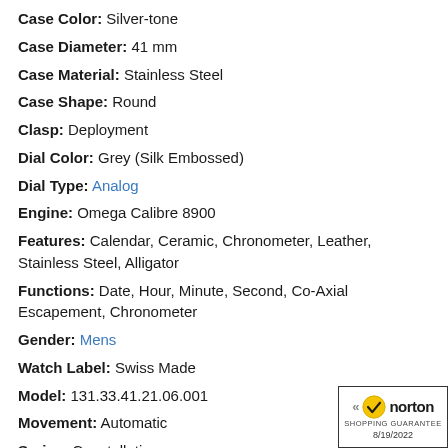Case Color: Silver-tone
Case Diameter: 41 mm
Case Material: Stainless Steel
Case Shape: Round
Clasp: Deployment
Dial Color: Grey (Silk Embossed)
Dial Type: Analog
Engine: Omega Calibre 8900
Features: Calendar, Ceramic, Chronometer, Leather, Stainless Steel, Alligator
Functions: Date, Hour, Minute, Second, Co-Axial Escapement, Chronometer
Gender: Mens
Watch Label: Swiss Made
Model: 131.33.41.21.06.001
Movement: Automatic
Series: Constellation
[Figure (logo): Norton Shopping Guarantee badge dated 8/19/2022]